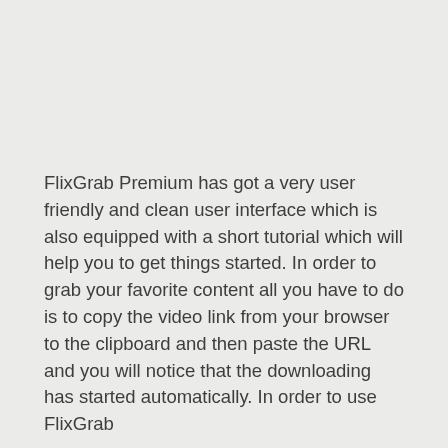FlixGrab Premium has got a very user friendly and clean user interface which is also equipped with a short tutorial which will help you to get things started. In order to grab your favorite content all you have to do is to copy the video link from your browser to the clipboard and then paste the URL and you will notice that the downloading has started automatically. In order to use FlixGrab